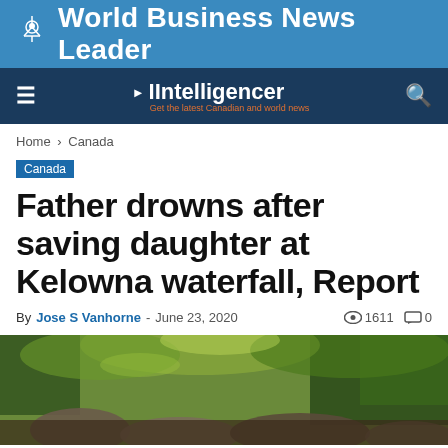World Business News Leader
IIntelligencer - Get the latest Canadian and world news
Home › Canada
Canada
Father drowns after saving daughter at Kelowna waterfall, Report
By Jose S Vanhorne - June 23, 2020  1611  0
[Figure (photo): Outdoor nature photo showing rocky waterfall area surrounded by trees and forest vegetation]